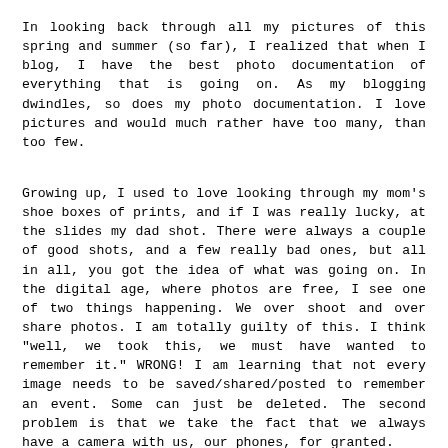In looking back through all my pictures of this spring and summer (so far), I realized that when I blog, I have the best photo documentation of everything that is going on. As my blogging dwindles, so does my photo documentation. I love pictures and would much rather have too many, than too few.
Growing up, I used to love looking through my mom's shoe boxes of prints, and if I was really lucky, at the slides my dad shot. There were always a couple of good shots, and a few really bad ones, but all in all, you got the idea of what was going on. In the digital age, where photos are free, I see one of two things happening. We over shoot and over share photos. I am totally guilty of this. I think "well, we took this, we must have wanted to remember it." WRONG! I am learning that not every image needs to be saved/shared/posted to remember an event. Some can just be deleted. The second problem is that we take the fact that we always have a camera with us, our phones, for granted.